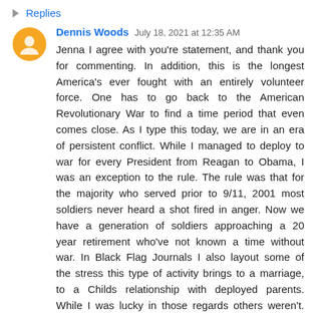Replies
Dennis Woods July 18, 2021 at 12:35 AM
Jenna I agree with you're statement, and thank you for commenting. In addition, this is the longest America's ever fought with an entirely volunteer force. One has to go back to the American Revolutionary War to find a time period that even comes close. As I type this today, we are in an era of persistent conflict. While I managed to deploy to war for every President from Reagan to Obama, I was an exception to the rule. The rule was that for the majority who served prior to 9/11, 2001 most soldiers never heard a shot fired in anger. Now we have a generation of soldiers approaching a 20 year retirement who've not known a time without war. In Black Flag Journals I also layout some of the stress this type of activity brings to a marriage, to a Childs relationship with deployed parents. While I was lucky in those regards others weren't. As for for the general public forgetting